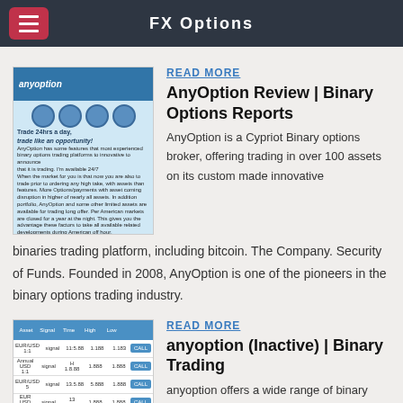FX Options
[Figure (screenshot): AnyOption website screenshot showing clocks, Trade 24hrs a day tagline, and trade now button]
READ MORE
AnyOption Review | Binary Options Reports
AnyOption is a Cypriot Binary options broker, offering trading in over 100 assets on its custom made innovative binaries trading platform, including bitcoin. The Company. Security of Funds. Founded in 2008, AnyOption is one of the pioneers in the binary options trading industry.
[Figure (screenshot): anyoption trading platform table screenshot showing asset rows with prices and trade buttons]
READ MORE
anyoption (Inactive) | Binary Trading
anyoption offers a wide range of binary